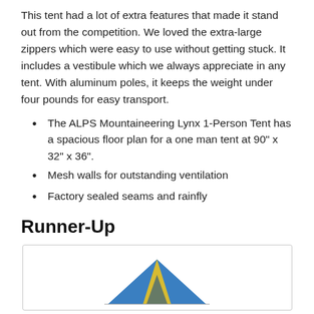This tent had a lot of extra features that made it stand out from the competition. We loved the extra-large zippers which were easy to use without getting stuck. It includes a vestibule which we always appreciate in any tent. With aluminum poles, it keeps the weight under four pounds for easy transport.
The ALPS Mountaineering Lynx 1-Person Tent has a spacious floor plan for a one man tent at 90" x 32" x 36".
Mesh walls for outstanding ventilation
Factory sealed seams and rainfly
Runner-Up
[Figure (photo): Photo of a tent (ALPS Mountaineering Lynx or similar), blue and yellow, partially visible at the bottom of the image box.]